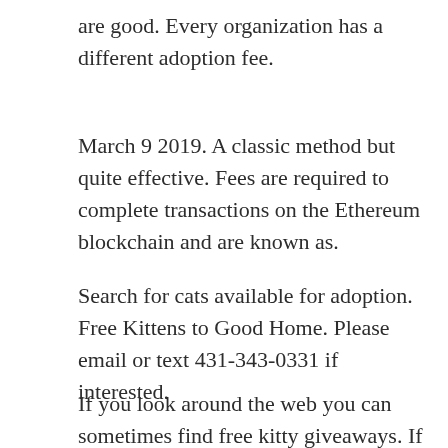are good. Every organization has a different adoption fee.
March 9 2019. A classic method but quite effective. Fees are required to complete transactions on the Ethereum blockchain and are known as.
Search for cats available for adoption. Free Kittens to Good Home. Please email or text 431-343-0331 if interested.
If you look around the web you can sometimes find free kitty giveaways. If you live in New